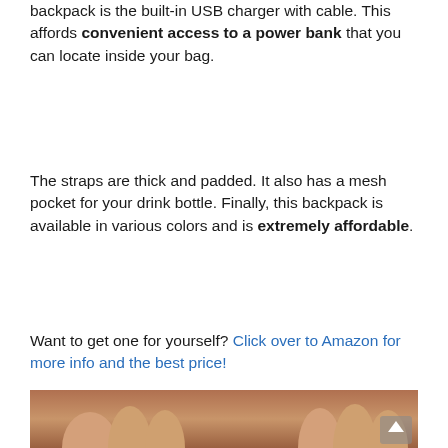backpack is the built-in USB charger with cable. This affords convenient access to a power bank that you can locate inside your bag.
The straps are thick and padded. It also has a mesh pocket for your drink bottle. Finally, this backpack is available in various colors and is extremely affordable.
Want to get one for yourself? Click over to Amazon for more info and the best price!
[Figure (photo): Close-up photo of a person's hand/fingers against a warm brown/tan background, partially cropped at bottom of page]